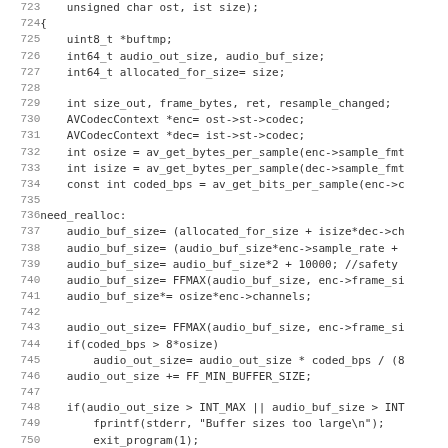[Figure (screenshot): Source code listing showing C code lines 724-755, including variable declarations, audio buffer size calculations, memory allocation calls, and error handling. Lines are truncated on the right.]